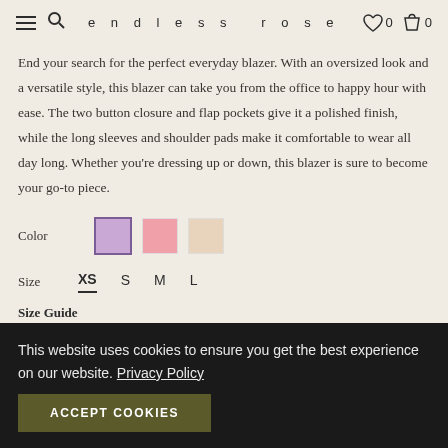endless rose | 0 | 0
End your search for the perfect everyday blazer. With an oversized look and a versatile style, this blazer can take you from the office to happy hour with ease. The two button closure and flap pockets give it a polished finish, while the long sleeves and shoulder pads make it comfortable to wear all day long. Whether you're dressing up or down, this blazer is sure to become your go-to piece.
Color
Size
XS S M L
Size Guide
This website uses cookies to ensure you get the best experience on our website. Privacy Policy
ACCEPT COOKIES